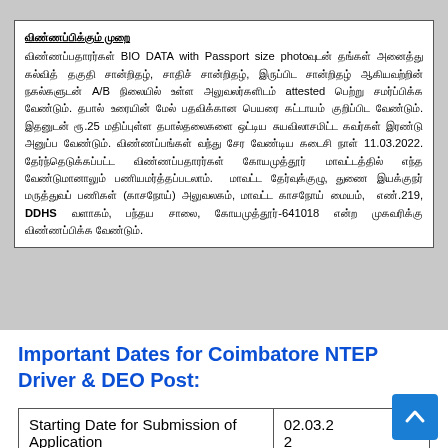[Figure (other): Scanned Tamil language document text block on grey background, containing instructions for BIO DATA submission with Passport size photo, certificates, postal requirements, and deadline of 11.03.2022 for Coimbatore district DDHS office at No.219, Pantha Salai, Coimbatore-641018.]
Important Dates for Coimbatore NTEP Driver & DEO Post:
|  |  |
| --- | --- |
| Starting Date for Submission of Application | 02.03.2022 |